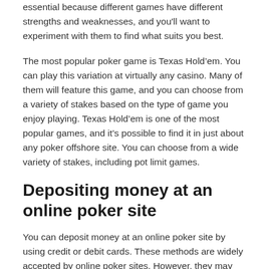essential because different games have different strengths and weaknesses, and you'll want to experiment with them to find what suits you best.
The most popular poker game is Texas Hold’em. You can play this variation at virtually any casino. Many of them will feature this game, and you can choose from a variety of stakes based on the type of game you enjoy playing. Texas Hold’em is one of the most popular games, and it’s possible to find it in just about any poker offshore site. You can choose from a wide variety of stakes, including pot limit games.
Depositing money at an online poker site
You can deposit money at an online poker site by using credit or debit cards. These methods are widely accepted by online poker sites. However, they may have some limitations. For example, some sites only accept MasterCard and Visa, while others accept American Express or Discover. However you